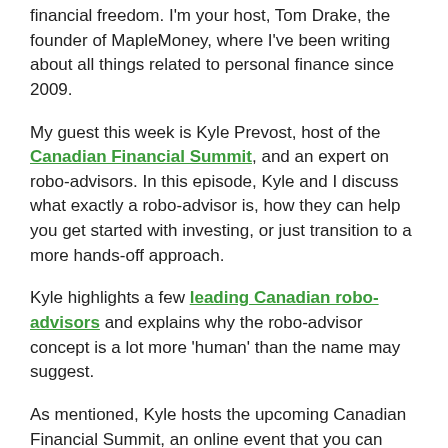financial freedom. I'm your host, Tom Drake, the founder of MapleMoney, where I've been writing about all things related to personal finance since 2009.
My guest this week is Kyle Prevost, host of the Canadian Financial Summit, and an expert on robo-advisors. In this episode, Kyle and I discuss what exactly a robo-advisor is, how they can help you get started with investing, or just transition to a more hands-off approach.
Kyle highlights a few leading Canadian robo-advisors and explains why the robo-advisor concept is a lot more 'human' than the name may suggest.
As mentioned, Kyle hosts the upcoming Canadian Financial Summit, an online event that you can stream on your favourite digital device. It runs from September 12th-15th, and is completely FREE!